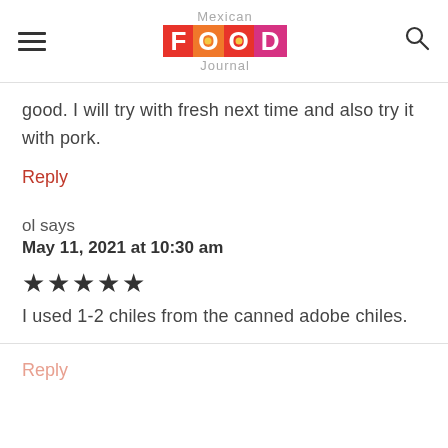Mexican Food Journal
good. I will try with fresh next time and also try it with pork.
Reply
ol says
May 11, 2021 at 10:30 am
★★★★★
I used 1-2 chiles from the canned adobe chiles.
Reply